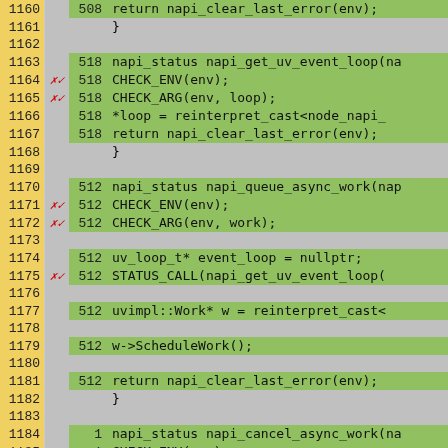[Figure (screenshot): Code coverage view showing C++ source lines 1160-1185 with line numbers in yellow, hit counts in green, coverage marks (x checkmark) in gray, and code content in green background. Lines with gray background are uncovered/blank lines.]